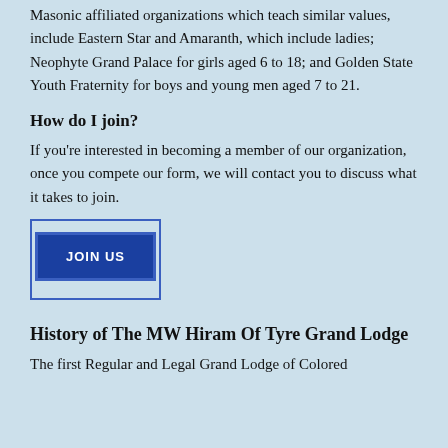Masonic affiliated organizations which teach similar values, include Eastern Star and Amaranth, which include ladies; Neophyte Grand Palace for girls aged 6 to 18; and Golden State Youth Fraternity for boys and young men aged 7 to 21.
How do I join?
If you're interested in becoming a member of our organization, once you compete our form, we will contact you to discuss what it takes to join.
[Figure (other): Blue button labeled JOIN US with double border]
History of The MW Hiram Of Tyre Grand Lodge
The first Regular and Legal Grand Lodge of Colored